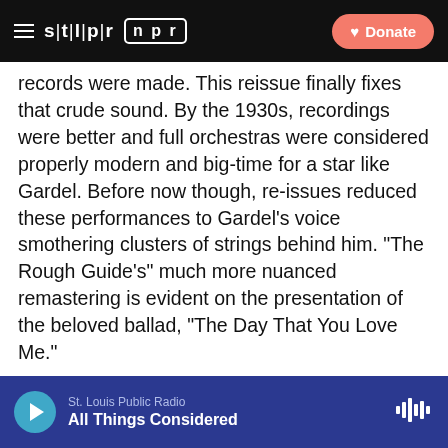STLPR | NPR | Donate
records were made. This reissue finally fixes that crude sound. By the 1930s, recordings were better and full orchestras were considered properly modern and big-time for a star like Gardel. Before now though, re-issues reduced these performances to Gardel's voice smothering clusters of strings behind him. "The Rough Guide's" much more nuanced remastering is evident on the presentation of the beloved ballad, "The Day That You Love Me."
(SOUNDBITE OF SONG, "THE DAY THAT YOU LOVE ME")
GARDEL: (Singing in Spanish).
St. Louis Public Radio | All Things Considered